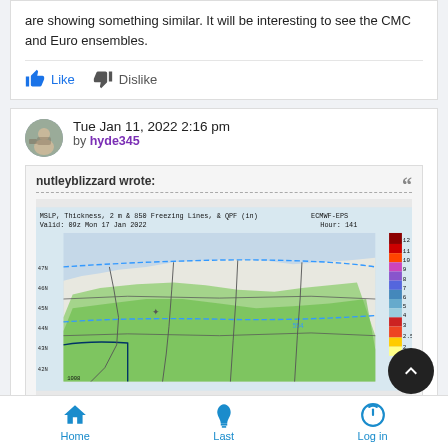are showing something similar. It will be interesting to see the CMC and Euro ensembles.
Like   Dislike
Tue Jan 11, 2022 2:16 pm by hyde345
nutleyblizzard wrote:
[Figure (map): ECMWF-EPS weather map showing MSLP, Thickness, 2m & 850 Freezing Lines, & QPF (in). Valid: 09z Mon 17 Jan 2022, Hour: 141. Shows northeastern US with green QPF shading, blue dashed lines for thickness, dark contour lines for pressure, and a color scale from 0 to 12 inches on the right side.]
Home   Last   Log in